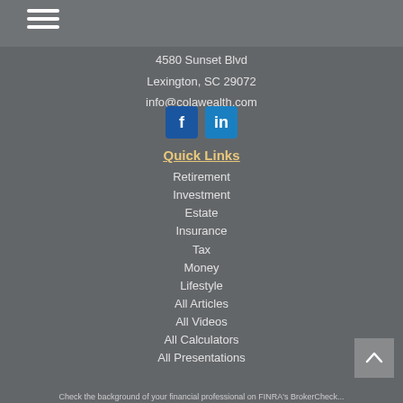[Figure (other): Hamburger menu icon with three horizontal white lines on a gray bar]
4580 Sunset Blvd
Lexington, SC 29072
info@colawealth.com
[Figure (other): Social media icons: Facebook (f) and LinkedIn (in) blue square buttons]
Quick Links
Retirement
Investment
Estate
Insurance
Tax
Money
Lifestyle
All Articles
All Videos
All Calculators
All Presentations
Check the background of your financial professional on FINRA's BrokerCheck ...